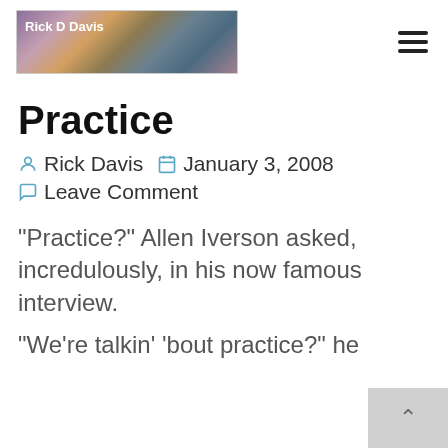Rick D Davis
Practice
Rick Davis   January 3, 2008
Leave Comment
"Practice?" Allen Iverson asked, incredulously, in his now famous interview.
"We're talkin' 'bout practice?" he